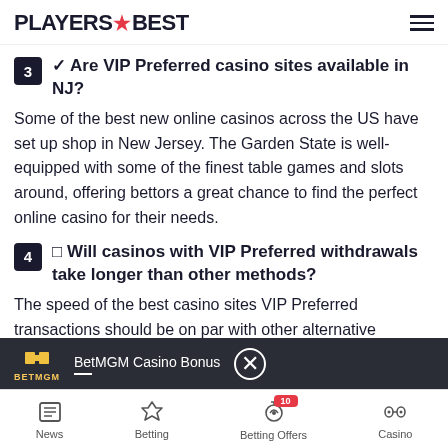PLAYERS BEST
3 ✓ Are VIP Preferred casino sites available in NJ?
Some of the best new online casinos across the US have set up shop in New Jersey. The Garden State is well-equipped with some of the finest table games and slots around, offering bettors a great chance to find the perfect online casino for their needs.
4 □ Will casinos with VIP Preferred withdrawals take longer than other methods?
The speed of the best casino sites VIP Preferred transactions should be on par with other alternative methods, including PayPal online casinos. However,
BetMGM Casino Bonus | News | Betting | Betting Offers 10 | Casino